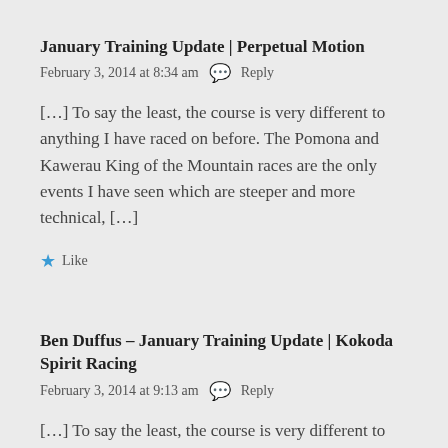January Training Update | Perpetual Motion
February 3, 2014 at 8:34 am  🗨 Reply
[…] To say the least, the course is very different to anything I have raced on before. The Pomona and Kawerau King of the Mountain races are the only events I have seen which are steeper and more technical, […]
★ Like
Ben Duffus – January Training Update | Kokoda Spirit Racing
February 3, 2014 at 9:13 am  🗨 Reply
[…] To say the least, the course is very different to